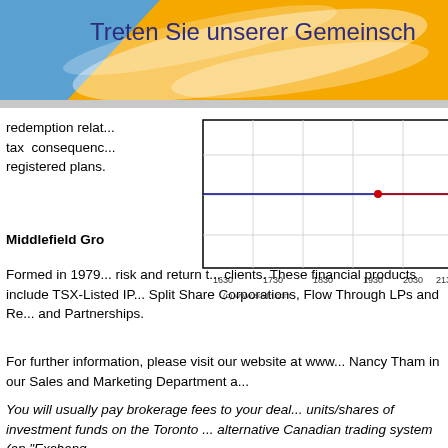[Figure (screenshot): Header banner with blue and gold/orange background design containing German text 'Treten Sie unserer Gemeinsch...']
redemption relat... tax consequences... registered plans.
[Figure (continuous-plot): Line chart with blue and red horizontal lines plotted against x-axis values from 1630 to 2130+, with a red dot around x=1980. Copyright (c) www.advfn.com]
Middlefield Gro...
Formed in 1979... risk and return t... clients. These financial products include TSX-Listed IP... Split Share Corporations, Flow Through LPs and Re... and Partnerships.
For further information, please visit our website at www... Nancy Tham in our Sales and Marketing Department a...
You will usually pay brokerage fees to your deal... units/shares of investment funds on the Toronto ... alternative Canadian trading system (an "Exchang...